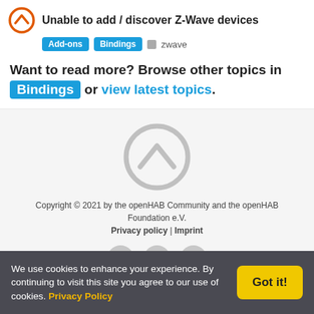Unable to add / discover Z-Wave devices
Add-ons  Bindings  zwave
Want to read more? Browse other topics in Bindings or view latest topics.
[Figure (logo): openHAB logo — large grey circle with chevron]
Copyright © 2021 by the openHAB Community and the openHAB Foundation e.V.
Privacy policy | Imprint
[Figure (illustration): Social media icons: Twitter, email/newsletter, GitHub]
We use cookies to enhance your experience. By continuing to visit this site you agree to our use of cookies. Privacy Policy  Got it!